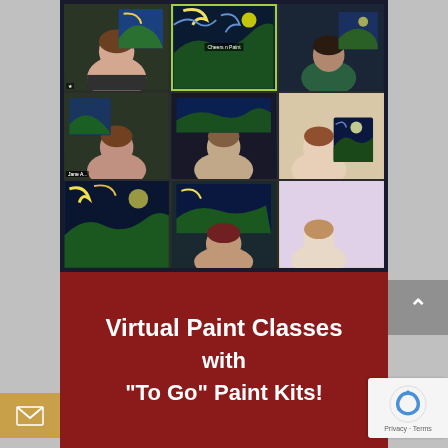[Figure (photo): Screenshot of a virtual Zoom painting class showing multiple participants in a grid layout, each person visible alongside their painted canvas depicting a Starry Night style painting with swirling blue sky and green fields.]
Virtual Paint Classes with "To Go" Paint Kits!